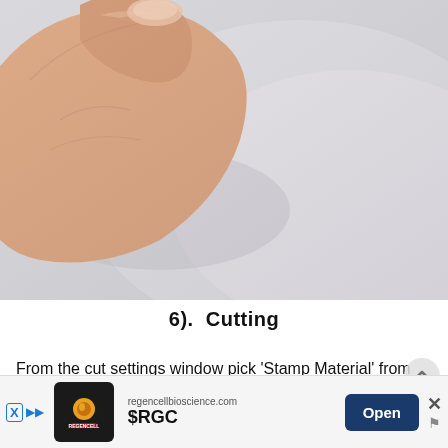[Figure (photo): A hand/fingers holding or pressing against a light gray surface, likely demonstrating stamp material handling. The background is pale gray-white.]
6).  Cutting
From the cut settings window pick 'Stamp Material' from the material...